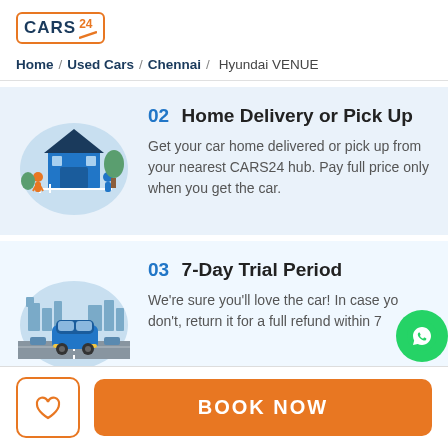[Figure (logo): CARS24 logo with orange border and diagonal slash element]
Home / Used Cars / Chennai / Hyundai VENUE
[Figure (illustration): Illustration of a house with two people standing outside, delivery scene]
02 Home Delivery or Pick Up
Get your car home delivered or pick up from your nearest CARS24 hub. Pay full price only when you get the car.
[Figure (illustration): Illustration of a car driving on a city road]
03 7-Day Trial Period
We're sure you'll love the car! In case you don't, return it for a full refund within 7
BOOK NOW